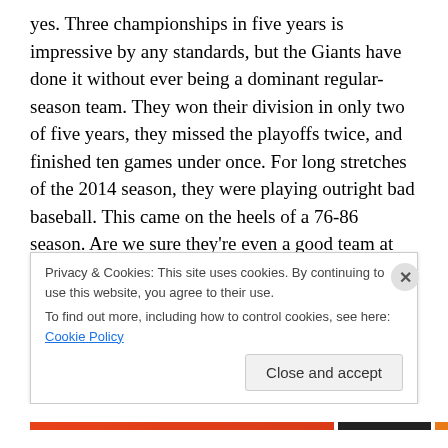yes. Three championships in five years is impressive by any standards, but the Giants have done it without ever being a dominant regular-season team. They won their division in only two of five years, they missed the playoffs twice, and finished ten games under once. For long stretches of the 2014 season, they were playing outright bad baseball. This came on the heels of a 76-86 season. Are we sure they're even a good team at this point? The short story of their offseason is thus: lost key contributors, didn't replace them. Casey McGehee is alright if you're the 2014 Marlins, but he's a no-power, bad-glove, line-drive
Privacy & Cookies: This site uses cookies. By continuing to use this website, you agree to their use.
To find out more, including how to control cookies, see here: Cookie Policy